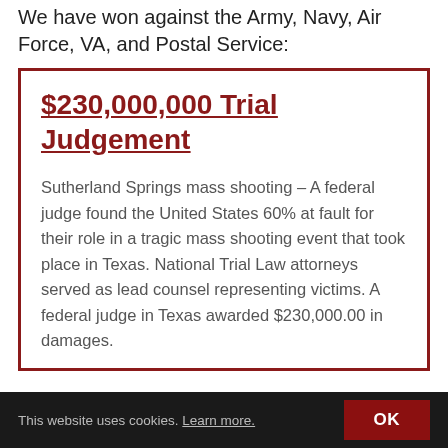We have won against the Army, Navy, Air Force, VA, and Postal Service:
$230,000,000 Trial Judgement
Sutherland Springs mass shooting – A federal judge found the United States 60% at fault for their role in a tragic mass shooting event that took place in Texas. National Trial Law attorneys served as lead counsel representing victims. A federal judge in Texas awarded $230,000.00 in damages.
This website uses cookies. Learn more. OK